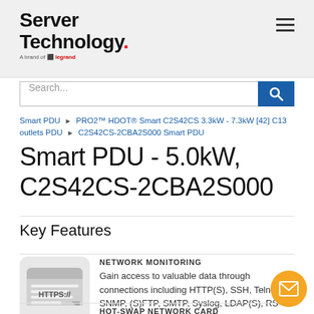Server Technology. A brand of Legrand.
Search...
Smart PDU ▶ PRO2™ HDOT® Smart C2S42CS 3.3kW - 7.3kW [42] C13 outlets PDU ▶ C2S42CS-2CBA2S000 Smart PDU
Smart PDU - 5.0kW, C2S42CS-2CBA2S000
Key Features
[Figure (illustration): HTTPS:// browser window icon on grey rounded square background]
NETWORK MONITORING
Gain access to valuable data through connections including HTTP(S), SSH, Telnet, SNMP, (S)FTP, SMTP, Syslog, LDAP(S), RS-232 serial, and more.
[Figure (illustration): Hot-swap network card icon showing circuit board with green checkmark on grey rounded square background]
HOT-SWAP NETWORK CARD
Network access is ensured when power is lost to